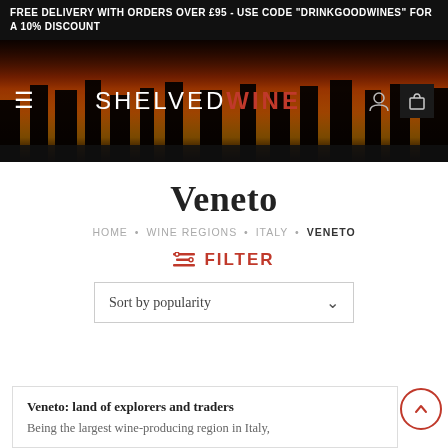FREE DELIVERY WITH ORDERS OVER £95 - USE CODE "DRINKGOODWINES" FOR A 10% DISCOUNT
[Figure (screenshot): Website header hero image with sunset/silhouetted trees background, showing SHELVEDWINE logo in center, hamburger menu icon on left, user and cart icons on right]
Veneto
HOME • WINE REGIONS • ITALY • VENETO
FILTER
Sort by popularity
Veneto: land of explorers and traders
Being the largest wine-producing region in Italy,